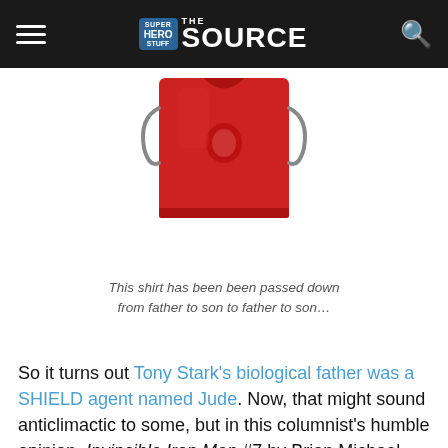Super Hero Stuff — The Source
[Figure (photo): Cropped image of a red Iron Man themed shirt, showing the torso and arms area]
This shirt has been been passed down from father to son to father to son…
So it turns out Tony Stark's biological father was a SHIELD agent named Jude. Now, that might sound anticlimactic to some, but in this columnist's humble opinion, Invincible Iron Man #7 by Brian Michael Bendis and Alex Maleev was the best darn superhero comic I've read in a long time. So, like or not, Jude has taken his place in the Marvel mythos. But this raises the following question: who else could have been in contention as Tony Stark's male DNA supplier? To answer this effectively (and hilariously), we gathered up some unusual suspects in an effort